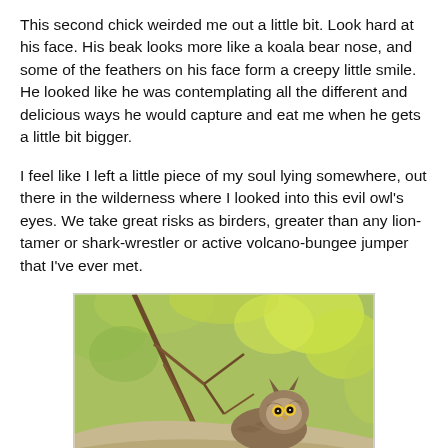This second chick weirded me out a little bit. Look hard at his face. His beak looks more like a koala bear nose, and some of the feathers on his face form a creepy little smile. He looked like he was contemplating all the different and delicious ways he would capture and eat me when he gets a little bit bigger.
I feel like I left a little piece of my soul lying somewhere, out there in the wilderness where I looked into this evil owl's eyes. We take great risks as birders, greater than any lion-tamer or shark-wrestler or active volcano-bungee jumper that I've ever met.
[Figure (photo): Photograph of an owl peeking over a large tree branch or rock, surrounded by green tree foliage with blurred background. The owl has visible ear tufts and stares directly at the camera.]